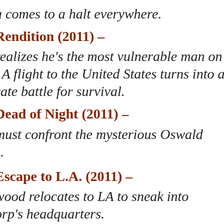a comes to a halt everywhere.
Rendition (2011) –
realizes he's the most vulnerable man on . A flight to the United States turns into a rate battle for survival.
Dead of Night (2011) –
must confront the mysterious Oswald s.
Escape to L.A. (2011) –
wood relocates to LA to sneak into orp's headquarters.
The Categories of Life (2011) –
wood goes undercover and discovers the